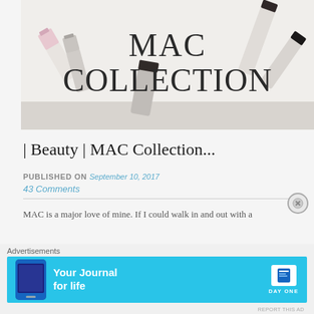[Figure (photo): Hero image showing MAC Collection text over a flat-lay photo of lipsticks and makeup products on a light background]
| Beauty | MAC Collection...
PUBLISHED ON September 10, 2017
43 Comments
MAC is a major love of mine. If I could walk in and out with a
[Figure (infographic): Advertisement banner: Your Journal for life - Day One app ad with cyan background]